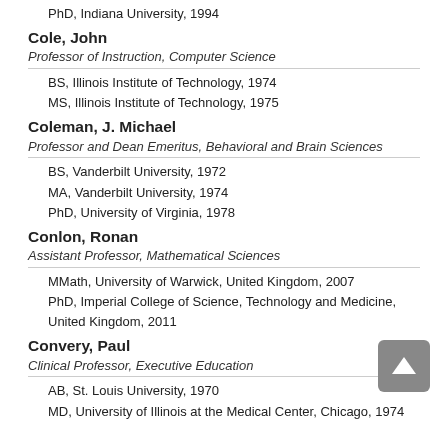PhD, Indiana University, 1994
Cole, John
Professor of Instruction, Computer Science
BS, Illinois Institute of Technology, 1974
MS, Illinois Institute of Technology, 1975
Coleman, J. Michael
Professor and Dean Emeritus, Behavioral and Brain Sciences
BS, Vanderbilt University, 1972
MA, Vanderbilt University, 1974
PhD, University of Virginia, 1978
Conlon, Ronan
Assistant Professor, Mathematical Sciences
MMath, University of Warwick, United Kingdom, 2007
PhD, Imperial College of Science, Technology and Medicine, United Kingdom, 2011
Convery, Paul
Clinical Professor, Executive Education
AB, St. Louis University, 1970
MD, University of Illinois at the Medical Center, Chicago, 1974